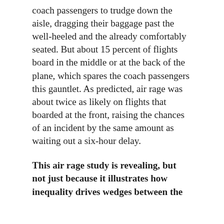coach passengers to trudge down the aisle, dragging their baggage past the well-heeled and the already comfortably seated. But about 15 percent of flights board in the middle or at the back of the plane, which spares the coach passengers this gauntlet. As predicted, air rage was about twice as likely on flights that boarded at the front, raising the chances of an incident by the same amount as waiting out a six-hour delay.
This air rage study is revealing, but not just because it illustrates how inequality drives wedges between the